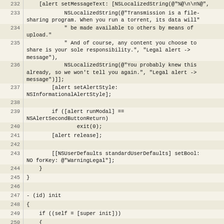[Figure (screenshot): Source code listing in Objective-C, showing lines 232 through 254. The code includes NSLocalizedString calls, alert configuration, NSUserDefaults usage, and an init method with NSUserDefaults standardUserDefaults assignment.]